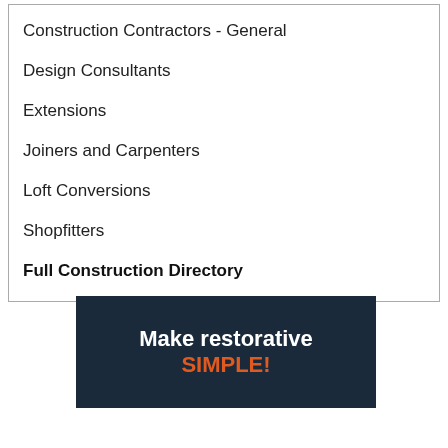Construction Contractors - General
Design Consultants
Extensions
Joiners and Carpenters
Loft Conversions
Shopfitters
Full Construction Directory
[Figure (other): Advertisement banner with dark navy background. Text reads 'Make restorative' on first line, then partially visible text 'SIMPLE!' in orange on second line.]